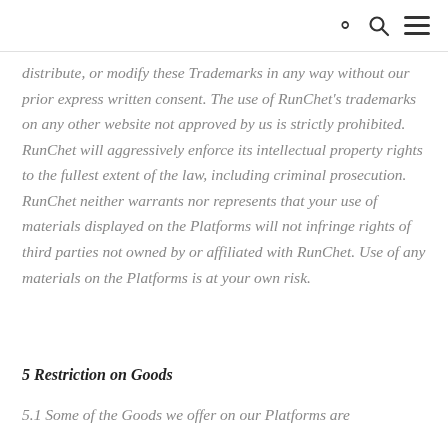distribute, or modify these Trademarks in any way without our prior express written consent. The use of RunChet's trademarks on any other website not approved by us is strictly prohibited. RunChet will aggressively enforce its intellectual property rights to the fullest extent of the law, including criminal prosecution. RunChet neither warrants nor represents that your use of materials displayed on the Platforms will not infringe rights of third parties not owned by or affiliated with RunChet. Use of any materials on the Platforms is at your own risk.
5 Restriction on Goods
5.1 Some of the Goods we offer on our Platforms are